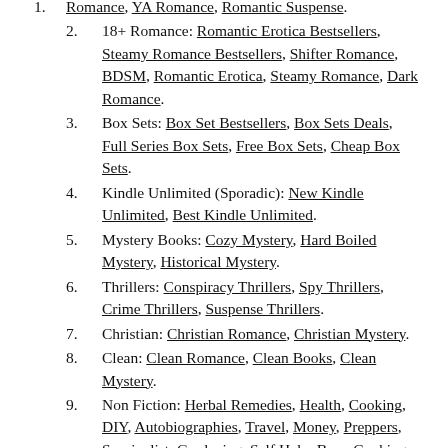Romance, YA Romance, Romantic Suspense.
18+ Romance: Romantic Erotica Bestsellers, Steamy Romance Bestsellers, Shifter Romance, BDSM, Romantic Erotica, Steamy Romance, Dark Romance.
Box Sets: Box Set Bestsellers, Box Sets Deals, Full Series Box Sets, Free Box Sets, Cheap Box Sets.
Kindle Unlimited (Sporadic): New Kindle Unlimited, Best Kindle Unlimited.
Mystery Books: Cozy Mystery, Hard Boiled Mystery, Historical Mystery.
Thrillers: Conspiracy Thrillers, Spy Thrillers, Crime Thrillers, Suspense Thrillers.
Christian: Christian Romance, Christian Mystery.
Clean: Clean Romance, Clean Books, Clean Mystery.
Non Fiction: Herbal Remedies, Health, Cooking, DIY, Autobiographies, Travel, Money, Preppers, Survivalist, Gardening, Self Help, Beer, Cooking into…